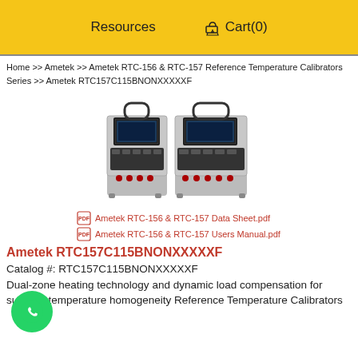Resources  Cart(0)
Home >> Ametek >> Ametek RTC-156 & RTC-157 Reference Temperature Calibrators Series >> Ametek RTC157C115BNONXXXXXF
[Figure (photo): Two Ametek RTC-156/RTC-157 Reference Temperature Calibrator units side by side, silver/black portable dry-block calibrators with digital displays and probe ports.]
Ametek RTC-156 & RTC-157 Data Sheet.pdf
Ametek RTC-156 & RTC-157 Users Manual.pdf
Ametek RTC157C115BNONXXXXXF
Catalog #: RTC157C115BNONXXXXXF
Dual-zone heating technology and dynamic load compensation for superior temperature homogeneity Reference Temperature Calibrators